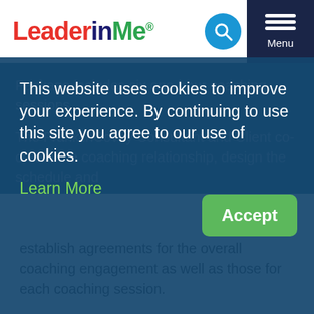[Figure (logo): LeaderInMe logo with red 'Leader', dark blue 'in', green 'Me' and registered trademark symbol]
[Figure (screenshot): Cookie consent banner overlay on LeaderInMe website with Accept button and Learn More link]
Package includes six one-hour coaching sessions
The FranklinCovey Consultant and Client co-create the coaching relationship, design the schedule and establish agreements for the overall coaching engagement as well as those for each coaching session.